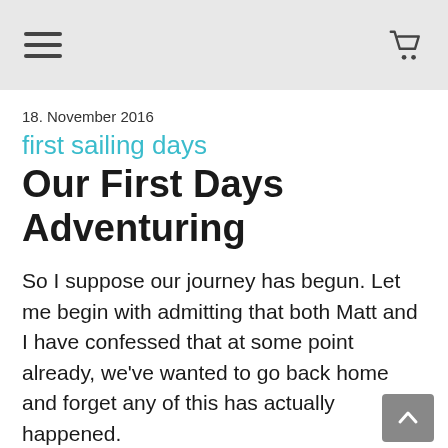Navigation bar with hamburger menu and cart icon
18. November 2016
first sailing days
Our First Days Adventuring
So I suppose our journey has begun. Let me begin with admitting that both Matt and I have confessed that at some point already, we've wanted to go back home and forget any of this has actually happened.
Most of it has been plain old home sickness,